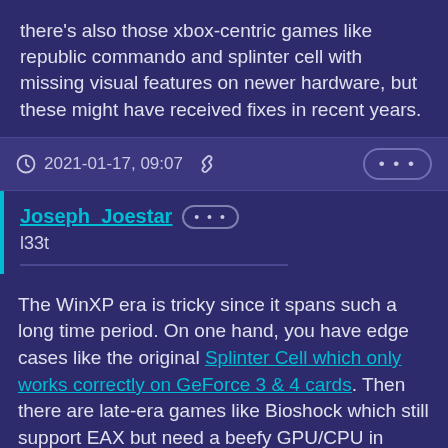there's also those xbox-centric games like republic commando and splinter cell with missing visual features on newer hardware, but these might have received fixes in recent years.
2021-01-17, 09:07
Joseph_Joestar l33t
The WinXP era is tricky since it spans such a long time period. On one hand, you have edge cases like the original Splinter Cell which only works correctly on GeForce 3 & 4 cards. Then there are late-era games like Bioshock which still support EAX but need a beefy GPU/CPU in order to run smoothly.
My approach is to use a single-core CPU paired with a GPU with 512 MB of video RAM for WinXP games up to 2006. No